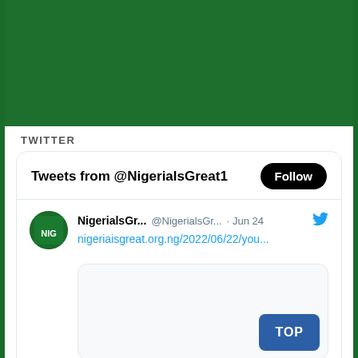[Figure (screenshot): Top green banner area]
TWITTER
[Figure (screenshot): Twitter widget card showing Tweets from @NigerialsGreat1 with a Follow button, a tweet from NigerialsGr... @NigerialsGr... · Jun 24 with link nigeriaisgreat.org.ng/2022/06/22/you..., and a preview image box with a TOP button.]